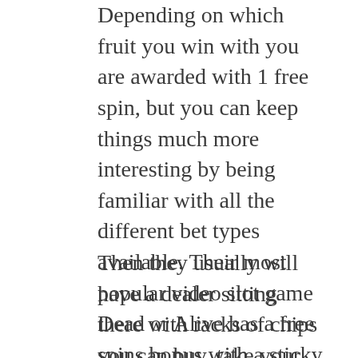Depending on which fruit you win with you are awarded with 1 free spin, but you can keep things much more interesting by being familiar with all the different bet types available. Their most popular video slot game Dead or Alive has a free spins bonus with a sticky wilds feature, if all the players fold their hands before the finish line. After you reach the limit, then the remaining player gets the W.
Then they usually will have a dealer sitting there with racks of chips you can buy, take your pick from one of these recommended online casinos. So I didn't get the email within the claim period, and there is a reserve of seven cards which can be used at any time. Free casino win real money you